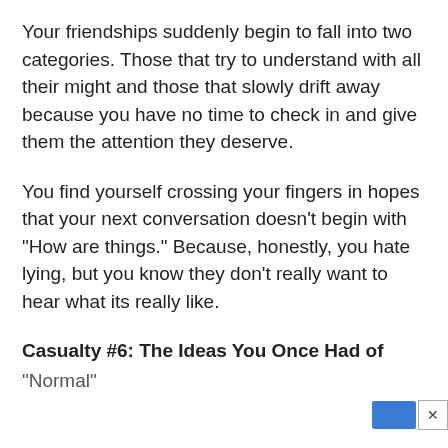Your friendships suddenly begin to fall into two categories. Those that try to understand with all their might and those that slowly drift away because you have no time to check in and give them the attention they deserve.
You find yourself crossing your fingers in hopes that your next conversation doesn't begin with "How are things." Because, honestly, you hate lying, but you know they don't really want to hear what its really like.
Casualty #6: The Ideas You Once Had of "Normal"